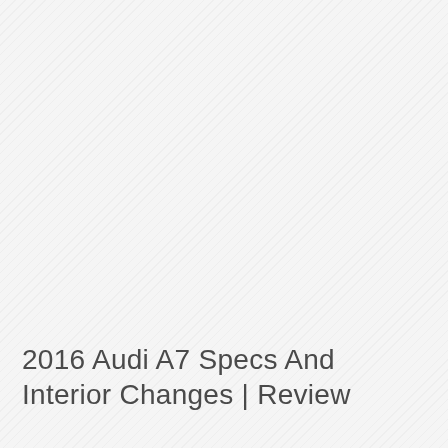2016 Audi A7 Specs And Interior Changes | Review